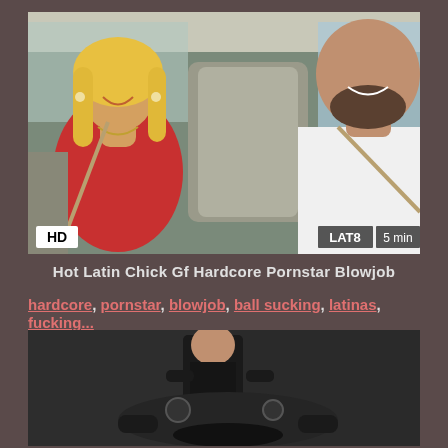[Figure (photo): Video thumbnail showing two people inside a car. A blonde woman in red sits in the back seat smiling, a bald man with beard sits in the driver seat. HD badge at bottom left, LAT8 logo and '5 min' badge at bottom right.]
Hot Latin Chick Gf Hardcore Pornstar Blowjob
hardcore, pornstar, blowjob, ball sucking, latinas, fucking...
[Figure (photo): Second video thumbnail showing dark scene with figures in black clothing.]